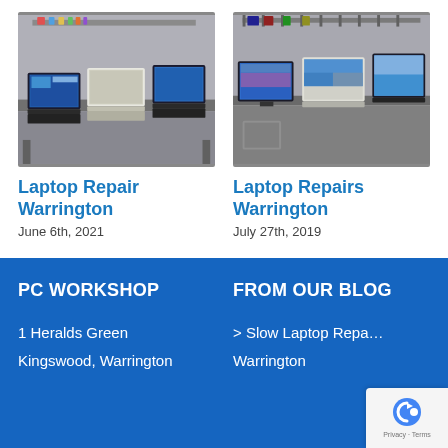[Figure (photo): Workshop bench with multiple laptops open and various tools/supplies on wall shelves]
Laptop Repair Warrington
June 6th, 2021
[Figure (photo): Workshop bench with multiple laptops and monitors open, tools on wall rack]
Laptop Repairs Warrington
July 27th, 2019
PC WORKSHOP
1 Heralds Green
Kingswood, Warrington
FROM OUR BLOG
> Slow Laptop Repair Warrington
Warrington